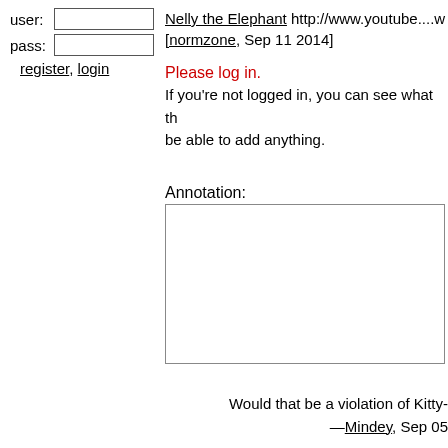user: [input] pass: [input] register, login
Nelly the Elephant http://www.youtube....w [normzone, Sep 11 2014]
Please log in. If you're not logged in, you can see what th be able to add anything.
Annotation: [textarea]
Would that be a violation of Kitty- —Mindey, Sep 05